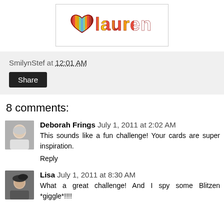[Figure (logo): Lauren logo with colorful striped heart and text in red/orange/yellow stripes]
SmilynStef at 12:01 AM
Share
8 comments:
[Figure (photo): Avatar photo of Deborah Frings, elderly woman]
Deborah Frings July 1, 2011 at 2:02 AM
This sounds like a fun challenge! Your cards are super inspiration.
Reply
[Figure (photo): Avatar photo of Lisa]
Lisa July 1, 2011 at 8:30 AM
What a great challenge! And I spy some Blitzen *giggle*!!!!